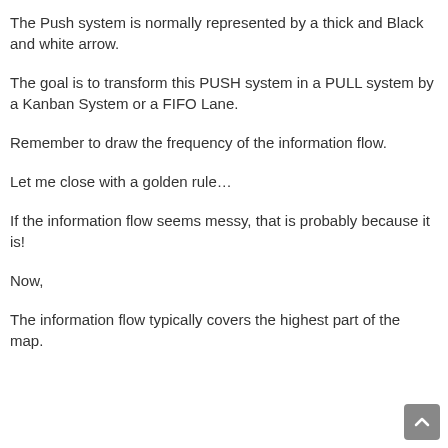The Push system is normally represented by a thick and Black and white arrow.
The goal is to transform this PUSH system in a PULL system by a Kanban System or a FIFO Lane.
Remember to draw the frequency of the information flow.
Let me close with a golden rule…
If the information flow seems messy, that is probably because it is!
Now,
The information flow typically covers the highest part of the map.